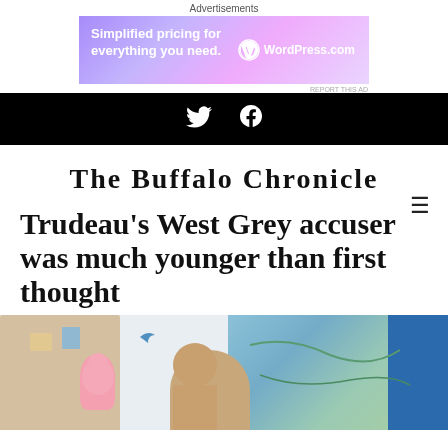Advertisements
[Figure (other): WordPress.com advertisement banner: 'Simplified pricing for everything you need.' with WordPress logo]
REPORT THIS AD
[Figure (other): Black social media bar with Twitter bird icon and Facebook f icon in white]
The Buffalo Chronicle
Trudeau's West Grey accuser was much younger than first thought
[Figure (photo): Photo showing children in a classroom setting with a colorful map on the wall and a pink stuffed toy visible, and a blue-shirted figure on the right]